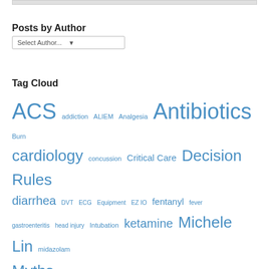Posts by Author
Select Author...
Tag Cloud
ACS addiction ALIEM Analgesia Antibiotics Burn cardiology concussion Critical Care Decision Rules diarrhea DVT ECG Equipment EZ IO fentanyl fever gastroenteritis head injury Intubation ketamine Michele Lin midazolam Myths narcotics ondansetron Overdiagnosis Oxygenation paediatric PCI PE pregnancy propofol PSA recruitment RSI Sedation Sepsis Slide Deck Strep Throat Syncope telemedicine Ventilation vomiting Wounds